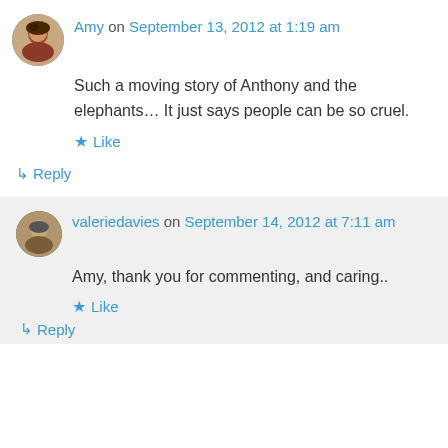Amy on September 13, 2012 at 1:19 am
Such a moving story of Anthony and the elephants… It just says people can be so cruel.
Like
Reply
valeriedavies on September 14, 2012 at 7:11 am
Amy, thank you for commenting, and caring..
Like
Reply